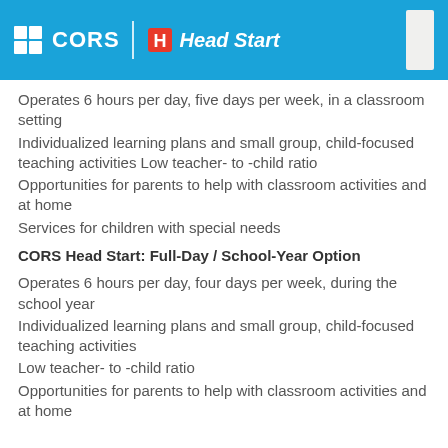CORS | Head Start
Operates 6 hours per day, five days per week, in a classroom setting
Individualized learning plans and small group, child-focused teaching activities Low teacher- to -child ratio
Opportunities for parents to help with classroom activities and at home
Services for children with special needs
CORS Head Start: Full-Day / School-Year Option
Operates 6 hours per day, four days per week, during the school year
Individualized learning plans and small group, child-focused teaching activities
Low teacher- to -child ratio
Opportunities for parents to help with classroom activities and at home